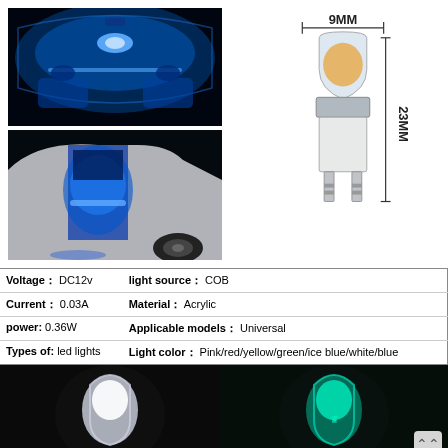[Figure (photo): Car interior lit with blue LED lights from above, showing roof and seats glowing blue]
[Figure (photo): Car with door open showing blue LED interior lighting, door projector light on ground]
[Figure (engineering-diagram): LED bulb diagram showing dimensions: 9MM width and 23MM height, with labeled bulb schematic]
| Voltage: | DC12v | light source: | COB |
| Current: | 0.03A | Material: | Acrylic |
| power: | 0.36W | Applicable models: | Universal |
| Types of: | led lights | Light color: | Pink/red/yellow/green/ice blue/white/blue |
[Figure (photo): Two LED bulbs glowing: one white on the left, one ice blue/teal on the right with logo visible]